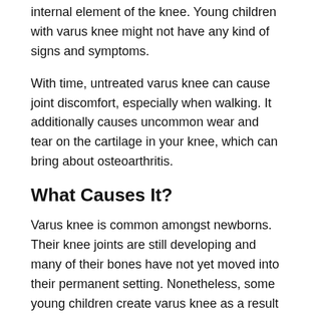internal element of the knee. Young children with varus knee might not have any kind of signs and symptoms.
With time, untreated varus knee can cause joint discomfort, especially when walking. It additionally causes uncommon wear and tear on the cartilage in your knee, which can bring about osteoarthritis.
What Causes It?
Varus knee is common amongst newborns. Their knee joints are still developing and many of their bones have not yet moved into their permanent setting. Nonetheless, some young children create varus knee as a result of rickets, a disease associated with reduced degrees of vitamin D that causes soft bones.